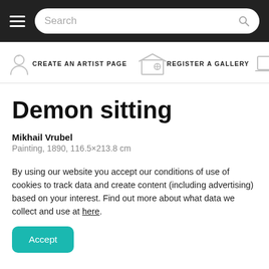Search
CREATE AN ARTIST PAGE   REGISTER A GALLERY
Demon sitting
Mikhail Vrubel
Painting, 1890, 116.5×213.8 cm
By using our website you accept our conditions of use of cookies to track data and create content (including advertising) based on your interest. Find out more about what data we collect and use at here.
Accept